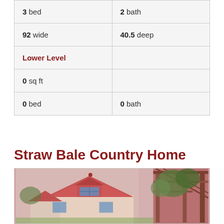| 3 bed | 2 bath |
| 92 wide | 40.5 deep |
| Lower Level |  |
| 0 sq ft |  |
| 0 bed | 0 bath |
Straw Bale Country Home
[Figure (photo): Exterior photo of a country home with a pink/red metal roof, dormer window, and a wooden pergola structure on the right side with trees and foliage visible]